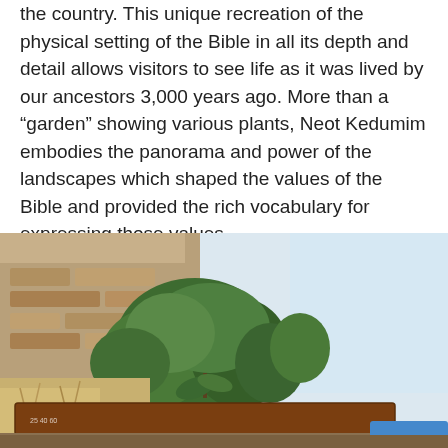the country. This unique recreation of the physical setting of the Bible in all its depth and detail allows visitors to see life as it was lived by our ancestors 3,000 years ago. More than a “garden” showing various plants, Neot Kedumim embodies the panorama and power of the landscapes which shaped the values of the Bible and provided the rich vocabulary for expressing those values.
[Figure (photo): Outdoor scene at Neot Kedumim showing stone wall with green shrubbery and trees against a light sky, with a brown wooden directional sign panel in the foreground and a blue element at bottom right.]